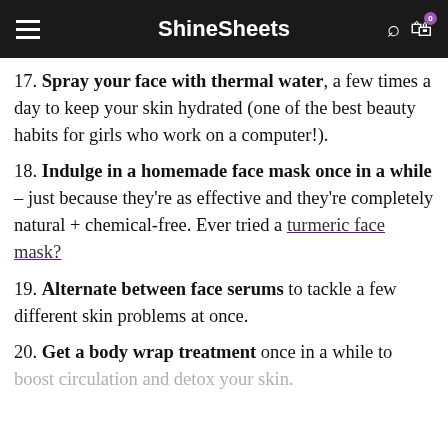ShineSheets
17. Spray your face with thermal water, a few times a day to keep your skin hydrated (one of the best beauty habits for girls who work on a computer!).
18. Indulge in a homemade face mask once in a while – just because they're as effective and they're completely natural + chemical-free. Ever tried a turmeric face mask?
19. Alternate between face serums to tackle a few different skin problems at once.
20. Get a body wrap treatment once in a while to boost circulation and detox your skin.